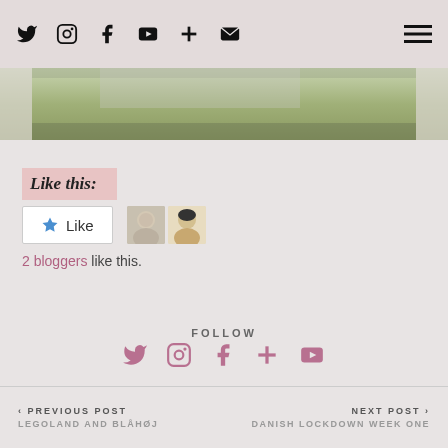Social media icons: Twitter, Instagram, Facebook, YouTube, Plus, Email | Hamburger menu
[Figure (photo): Partial hero/banner photo strip showing outdoor greenery scene]
Like this:
Like button with 2 blogger avatars. 2 bloggers like this.
FOLLOW
Follow social icons: Twitter, Instagram, Facebook, Plus, YouTube
SHARE THIS: Email, Facebook, Twitter, Pinterest, Tumblr, WhatsApp, LinkedIn, WordPress
< PREVIOUS POST LEGOLAND AND BLÅHØJ | NEXT POST > DANISH LOCKDOWN WEEK ONE